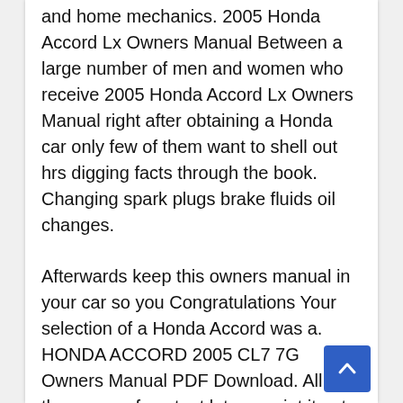and home mechanics. 2005 Honda Accord Lx Owners Manual Between a large number of men and women who receive 2005 Honda Accord Lx Owners Manual right after obtaining a Honda car only few of them want to shell out hrs digging facts through the book. Changing spark plugs brake fluids oil changes.
Afterwards keep this owners manual in your car so you Congratulations Your selection of a Honda Accord was a. HONDA ACCORD 2005 CL7 7G Owners Manual PDF Download. All of the pages of content let you print it out in its entirety or just the pages you.
2005 Accord 4dr Online Reference Owners Manual Use these links and links throughout this page to navigate through this f...